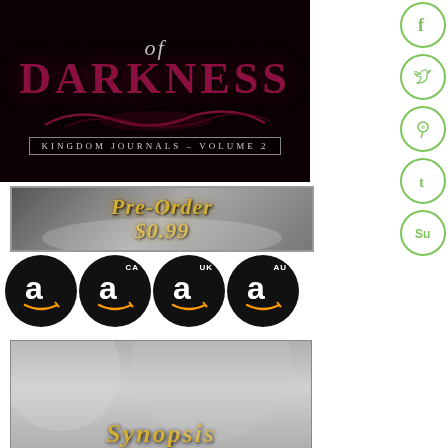[Figure (illustration): Book cover for 'of Darkness - Kingdom Journals Volume 2' with dark background, large crimson/maroon text 'DARKNESS' and decorative swirls, subtitle 'KINGDOM JOURNALS - VOLUME 2']
[Figure (infographic): Social media share icons arranged vertically on right side: Facebook, Twitter, Pinterest, Tumblr, StumbleUpon - each in a green-outlined circle]
[Figure (illustration): Pre-Order banner in gold script text on gray gradient background reading 'Pre-Order $0.99' with open book imagery]
[Figure (illustration): Four Amazon store circular black buttons: main Amazon US, Amazon CA, Amazon UK, Amazon AU - each with white Amazon 'a' logo]
[Figure (illustration): Synopsis banner with gold script text on gray/misty background beginning with 'Synopsis']